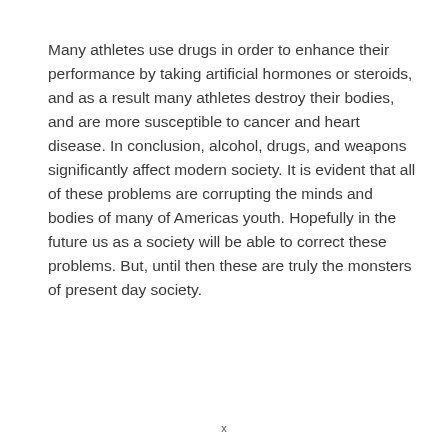Many athletes use drugs in order to enhance their performance by taking artificial hormones or steroids, and as a result many athletes destroy their bodies, and are more susceptible to cancer and heart disease. In conclusion, alcohol, drugs, and weapons significantly affect modern society. It is evident that all of these problems are corrupting the minds and bodies of many of Americas youth. Hopefully in the future us as a society will be able to correct these problems. But, until then these are truly the monsters of present day society.
x